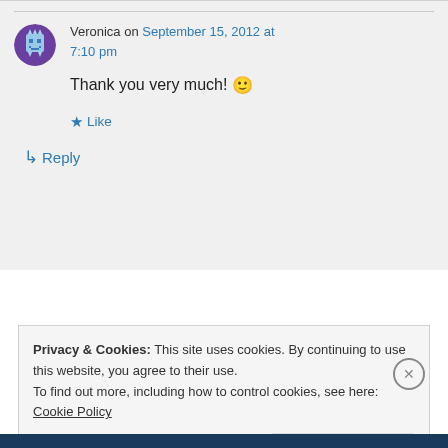Veronica on September 15, 2012 at 7:10 pm
Thank you very much! 🙂
★ Like
↵ Reply
Privacy & Cookies: This site uses cookies. By continuing to use this website, you agree to their use. To find out more, including how to control cookies, see here: Cookie Policy
Close and accept